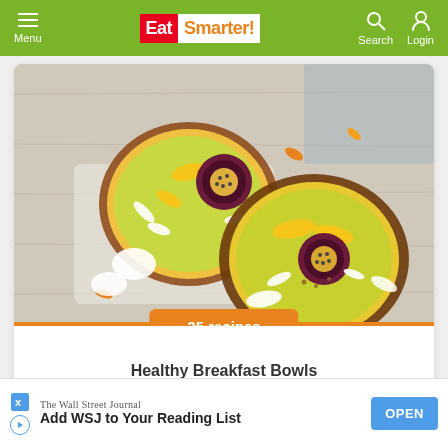EatSmarter! — Menu, Search, Login navigation bar
[Figure (photo): Overhead photo of two tropical smoothie bowls in coconut shells with mango slices, passion fruit, and coconut flakes on a rustic white wooden surface.]
25 recipes
Healthy Breakfast Bowls
[Figure (photo): Partial view of a second recipe card below, showing a green-toned food image.]
The Wall Street Journal
Add WSJ to Your Reading List
OPEN